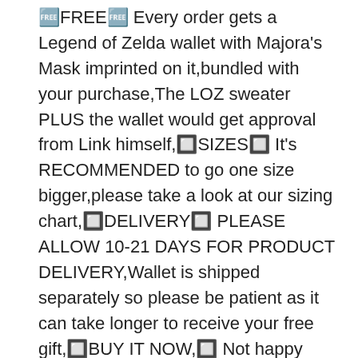🆓FREE🆓 Every order gets a Legend of Zelda wallet with Majora's Mask imprinted on it,bundled with your purchase,The LOZ sweater PLUS the wallet would get approval from Link himself,🔲SIZES🔲 It's RECOMMENDED to go one size bigger,please take a look at our sizing chart,🔲DELIVERY🔲 PLEASE ALLOW 10-21 DAYS FOR PRODUCT DELIVERY,Wallet is shipped separately so please be patient as it can take longer to receive your free gift,🔲BUY IT NOW,🔲 Not happy with something,Customer service is here to provide timely and professional service,Add it to the cart and be part of the family,Shipping Information:,ASIN: B07KTCHP1T,Date first listed on : August 1,018,If you're a HUGE Legend of Zelda fan,you're going to love these thermal sweaters,When you wear these sweaters you will feel like you're Link himself,It's like you will be on